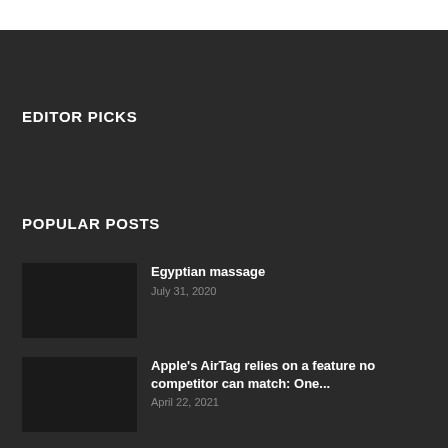EDITOR PICKS
POPULAR POSTS
Egyptian massage
July 31, 2020
Apple's AirTag relies on a feature no competitor can match: One...
April 22, 2021